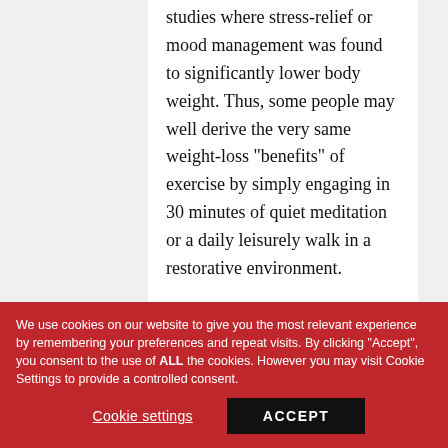studies where stress-relief or mood management was found to significantly lower body weight. Thus, some people may well derive the very same weight-loss "benefits" of exercise by simply engaging in 30 minutes of quiet meditation or a daily leisurely walk in a restorative environment.

Focusing on "calories burnt" or even equating "calories burnt" with the potential weight benefits of exercise is misleading and frustrating.
We use cookies on our website to give you the most relevant experience by remembering your preferences and repeat visits. By clicking "Accept", you consent to the use of ALL the cookies. However you may visit Cookie Settings to provide a controlled consent.